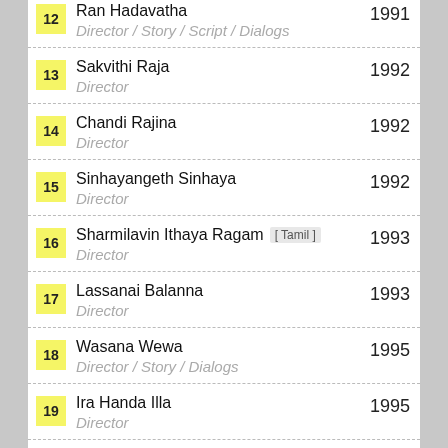12 Ran Hadavatha — Director / Story / Script / Dialogs — 1991
13 Sakvithi Raja — Director — 1992
14 Chandi Rajina — Director — 1992
15 Sinhayangeth Sinhaya — Director — 1992
16 Sharmilavin Ithaya Ragam [Tamil] — Director — 1993
17 Lassanai Balanna — Director — 1993
18 Wasana Wewa — Director / Story / Dialogs — 1995
19 Ira Handa Illa — Director — 1995